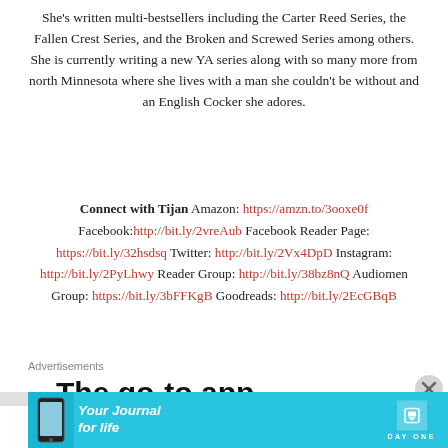She's written multi-bestsellers including the Carter Reed Series, the Fallen Crest Series, and the Broken and Screwed Series among others. She is currently writing a new YA series along with so many more from north Minnesota where she lives with a man she couldn't be without and an English Cocker she adores.
Connect with Tijan Amazon: https://amzn.to/3ooxe0f Facebook: http://bit.ly/2vreAub Facebook Reader Page: https://bit.ly/32hsdsq Twitter: http://bit.ly/2Vx4DpD Instagram: http://bit.ly/2PyLhwy Reader Group: http://bit.ly/38bz8nQ Audiomen Group: https://bit.ly/3bFFKgB Goodreads: http://bit.ly/2EcGBqB
Advertisements
The go-to app for podcast
Advertisements
[Figure (infographic): Advertisement banner for Day One app — 'Your Journal for life' on a cyan/blue background with phone image and Day One logo]